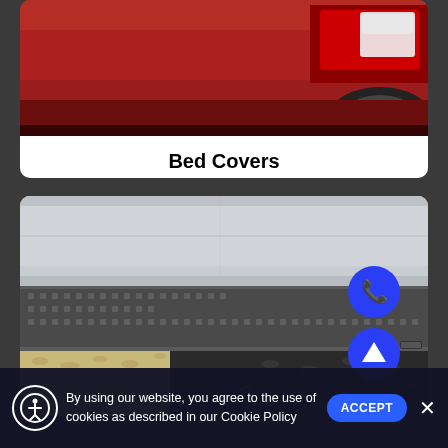[Figure (photo): Rear view of a red pickup truck showing tail lights and rear bumper]
Bed Covers
[Figure (photo): Side step / running board of a silver truck, textured surface, with blue phone and scroll-up buttons overlaid]
By using our website, you agree to the use of cookies as described in our Cookie Policy ACCEPT